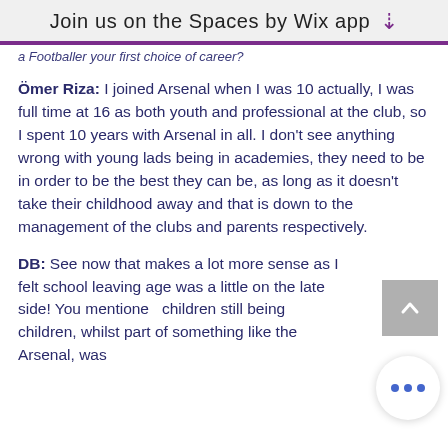Join us on the Spaces by Wix app
a Footballer your first choice of career?
Ömer Riza: I joined Arsenal when I was 10 actually, I was full time at 16 as both youth and professional at the club, so I spent 10 years with Arsenal in all. I don't see anything wrong with young lads being in academies, they need to be in order to be the best they can be, as long as it doesn't take their childhood away and that is down to the management of the clubs and parents respectively.
DB: See now that makes a lot more sense as I felt school leaving age was a little on the late side! You mentioned children still being children, whilst part of something like the Arsenal, was